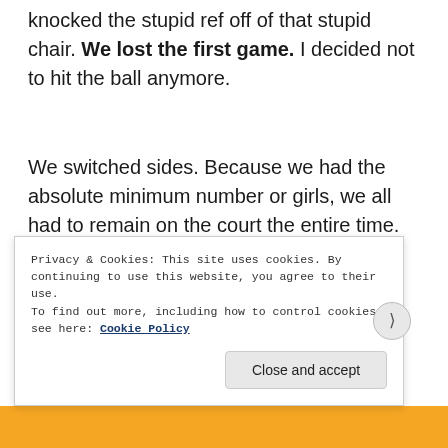knocked the stupid ref off of that stupid chair. We lost the first game. I decided not to hit the ball anymore.
We switched sides. Because we had the absolute minimum number or girls, we all had to remain on the court the entire time. No subs for us. I know all the men were super thrilled by that rule.
(partial, obscured by cookie banner)
Privacy & Cookies: This site uses cookies. By continuing to use this website, you agree to their use.
To find out more, including how to control cookies, see here: Cookie Policy
Close and accept